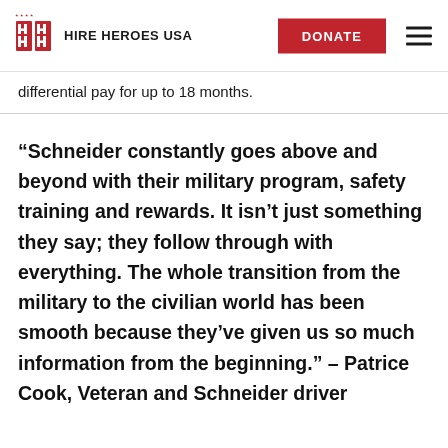HIRE HEROES USA | DONATE
differential pay for up to 18 months.
“Schneider constantly goes above and beyond with their military program, safety training and rewards. It isn’t just something they say; they follow through with everything. The whole transition from the military to the civilian world has been smooth because they’ve given us so much information from the beginning.” – Patrice Cook, Veteran and Schneider driver